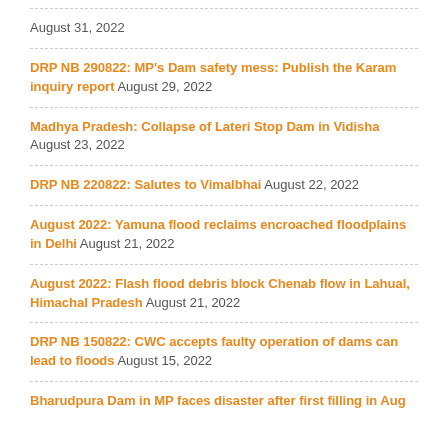August 31, 2022
DRP NB 290822: MP's Dam safety mess: Publish the Karam inquiry report August 29, 2022
Madhya Pradesh: Collapse of Lateri Stop Dam in Vidisha August 23, 2022
DRP NB 220822: Salutes to Vimalbhai August 22, 2022
August 2022: Yamuna flood reclaims encroached floodplains in Delhi August 21, 2022
August 2022: Flash flood debris block Chenab flow in Lahual, Himachal Pradesh August 21, 2022
DRP NB 150822: CWC accepts faulty operation of dams can lead to floods August 15, 2022
Bharudpura Dam in MP faces disaster after first filling in Aug